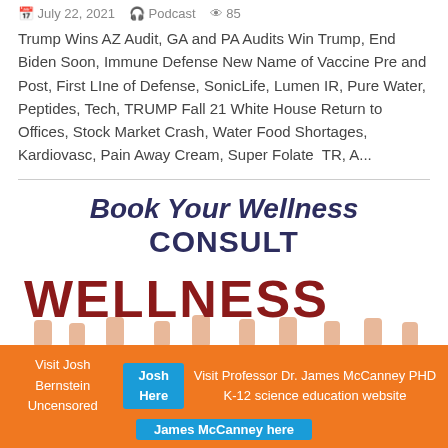July 22, 2021   Podcast   85
Trump Wins AZ Audit, GA and PA Audits Win Trump, End Biden Soon, Immune Defense New Name of Vaccine Pre and Post, First LIne of Defense, SonicLife, Lumen IR, Pure Water, Peptides, Tech, TRUMP Fall 21 White House Return to Offices, Stock Market Crash, Water Food Shortages, Kardiovasc, Pain Away Cream, Super Folate  TR, A...
[Figure (infographic): Book Your Wellness CONSULT advertisement with people holding red WELLNESS letters]
Visit Josh Bernstein Uncensored  Josh Here  Visit Professor Dr. James McCanney PHD K-12 science education website  James McCanney here